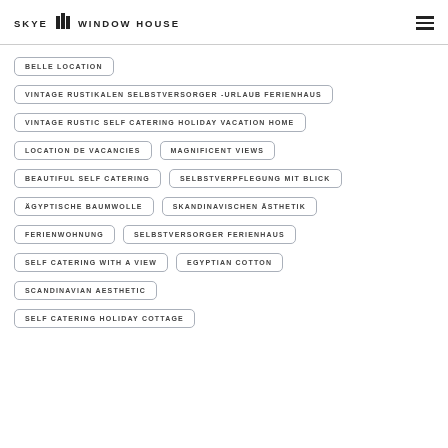SKYE WINDOW HOUSE
BELLE LOCATION
VINTAGE RUSTIKALEN SELBSTVERSORGER -URLAUB FERIENHAUS
VINTAGE RUSTIC SELF CATERING HOLIDAY VACATION HOME
LOCATION DE VACANCIES
MAGNIFICENT VIEWS
BEAUTIFUL SELF CATERING
SELBSTVERPFLEGUNG MIT BLICK
ÄGYPTISCHE BAUMWOLLE
SKANDINAVISCHEN ÄSTHETIK
FERIENWOHNUNG
SELBSTVERSORGER FERIENHAUS
SELF CATERING WITH A VIEW
EGYPTIAN COTTON
SCANDINAVIAN AESTHETIC
SELF CATERING HOLIDAY COTTAGE